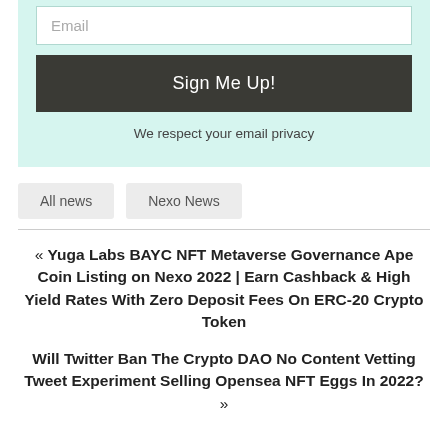Email
Sign Me Up!
We respect your email privacy
All news
Nexo News
« Yuga Labs BAYC NFT Metaverse Governance Ape Coin Listing on Nexo 2022 | Earn Cashback & High Yield Rates With Zero Deposit Fees On ERC-20 Crypto Token
Will Twitter Ban The Crypto DAO No Content Vetting Tweet Experiment Selling Opensea NFT Eggs In 2022? »